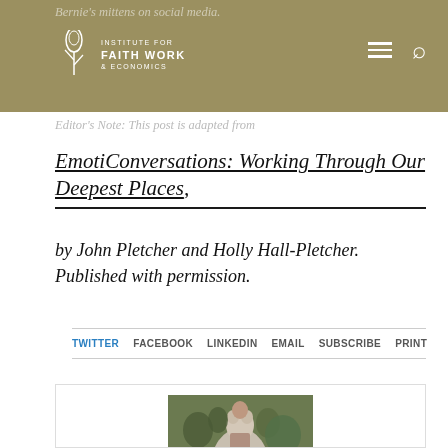Bernie's mittens on social media.
[Figure (logo): Institute for Faith, Work & Economics logo with leaf/branch icon]
Editor's Note: This post is adapted from
EmotiConversations: Working Through Our Deepest Places, by John Pletcher and Holly Hall-Pletcher. Published with permission.
TWITTER   FACEBOOK   LINKEDIN   EMAIL   SUBSCRIBE   PRINT
[Figure (photo): Headshot of a middle-aged man smiling, with greenery in the background]